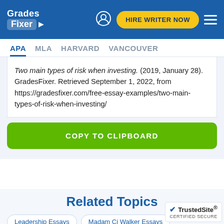Grades Fixer | HIRE WRITER NOW
APA  MLA  HARVARD  VANCOUVER
Two main types of risk when investing. (2019, January 28). GradesFixer. Retrieved September 1, 2022, from https://gradesfixer.com/free-essay-examples/two-main-types-of-risk-when-investing/
COPY TO CLIPBOARD
Related Topics
Leadership Essays
Madam Cj Walker Essays
Safety Essays
Elon Musk Essays
Decision Making Essays